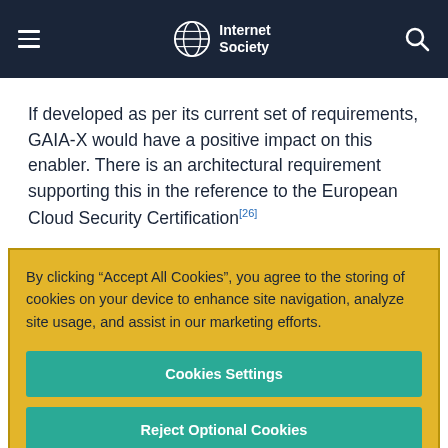Internet Society
If developed as per its current set of requirements, GAIA-X would have a positive impact on this enabler. There is an architectural requirement supporting this in the reference to the European Cloud Security Certification [26]
By clicking “Accept All Cookies”, you agree to the storing of cookies on your device to enhance site navigation, analyze site usage, and assist in our marketing efforts.
Cookies Settings
Reject Optional Cookies
Accept All Cookies